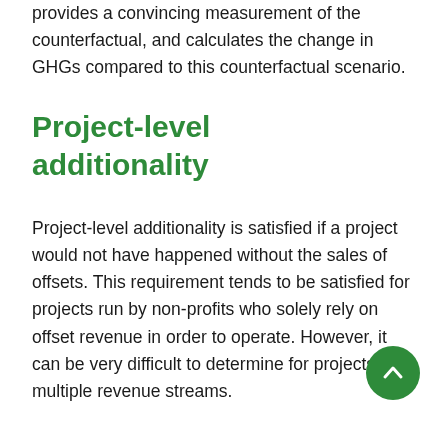provides a convincing measurement of the counterfactual, and calculates the change in GHGs compared to this counterfactual scenario.
Project-level additionality
Project-level additionality is satisfied if a project would not have happened without the sales of offsets. This requirement tends to be satisfied for projects run by non-profits who solely rely on offset revenue in order to operate. However, it can be very difficult to determine for projects with multiple revenue streams.